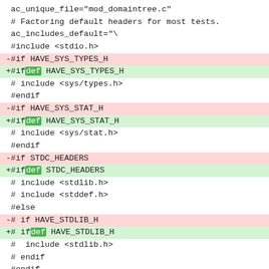ac_unique_file="mod_domaintree.c"
 # Factoring default headers for most tests.
 ac_includes_default="\
 #include <stdio.h>
-#if HAVE_SYS_TYPES_H
+#ifdef HAVE_SYS_TYPES_H
# include <sys/types.h>
 #endif
-#if HAVE_SYS_STAT_H
+#ifdef HAVE_SYS_STAT_H
# include <sys/stat.h>
 #endif
-#if STDC_HEADERS
+#ifdef STDC_HEADERS
# include <stdlib.h>
 # include <stddef.h>
 #else
-# if HAVE_STDLIB_H
+# ifdef HAVE_STDLIB_H
#  include <stdlib.h>
 # endif
 #endif
-#if HAVE_STRING_H
-# if !STDC_HEADERS && HAVE_MEMORY_H